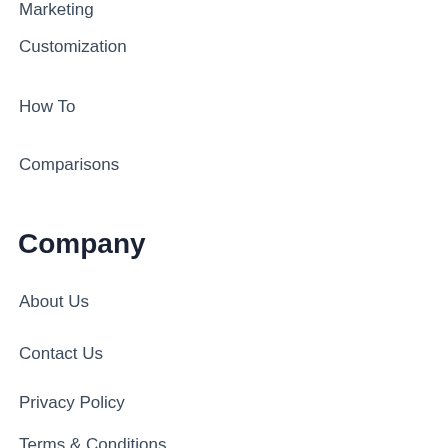Marketing
Customization
How To
Comparisons
Company
About Us
Contact Us
Privacy Policy
Terms & Conditions